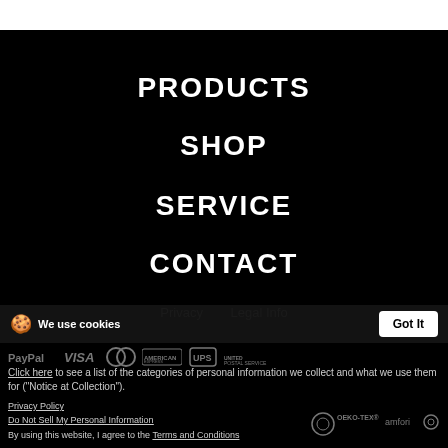PRODUCTS
SHOP
SERVICE
CONTACT
Privacy   Legal Info
We use cookies
Got It
[Figure (logo): Payment logos: PayPal, VISA, MasterCard, American Express, UPS, USPS]
Click here to see a list of the categories of personal information we collect and what we use them for ("Notice at Collection").
Privacy Policy
Do Not Sell My Personal Information
By using this website, I agree to the Terms and Conditions
[Figure (logo): OEKO-TEX and amfori certification logos]